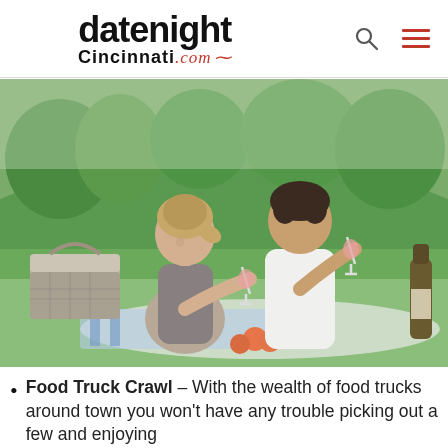datenight Cincinnati.com
[Figure (photo): A couple sitting on a blanket in a park having a picnic, clinking wine glasses together, with a picnic basket, wine bottle, and apples visible in the background.]
Food Truck Crawl – With the wealth of food trucks around town you won't have any trouble picking out a few and enjoying